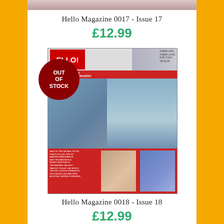[Figure (photo): Partial top of a Hello magazine cover visible at top of page]
Hello Magazine 0017 - Issue 17
£12.99
[Figure (photo): Hello Magazine Issue 18 cover showing people on cover with red Out of Stock circular badge overlaid on top-left. Cover features headline about Tony Jacklin and the Anonymous story of the Hamster Tragedy. Bottom strip has red background with small photos and text.]
Hello Magazine 0018 - Issue 18
£12.99